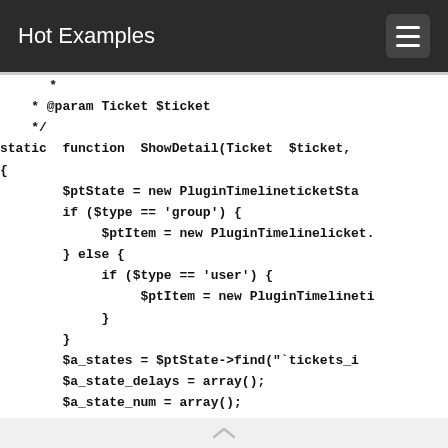Hot Examples
*
 * @param Ticket $ticket
 */
static function ShowDetail(Ticket $ticket,
{
     $ptState = new PluginTimelineticketSta
     if ($type == 'group') {
          $ptItem = new PluginTimelinelicket.
     } else {
          if ($type == 'user') {
               $ptItem = new PluginTimelinetic
          }
     }
     $a_states = $ptState->find("`tickets_i
     $a_state_delays = array();
     $a_state_num = array();
     ...